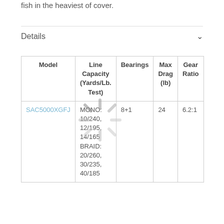fish in the heaviest of cover.
Details
| Model | Line Capacity (Yards/Lb. Test) | Bearings | Max Drag (lb) | Gear Ratio |
| --- | --- | --- | --- | --- |
| SAC5000XGFJ | MONO: 10/240, 12/195, 14/165 BRAID: 20/260, 30/235, 40/185 | 8+1 | 24 | 6.2:1 |